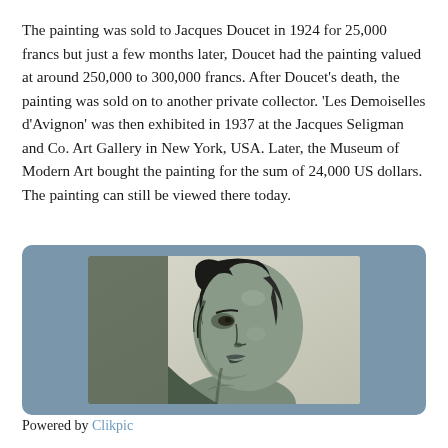The painting was sold to Jacques Doucet in 1924 for 25,000 francs but just a few months later, Doucet had the painting valued at around 250,000 to 300,000 francs. After Doucet's death, the painting was sold on to another private collector. 'Les Demoiselles d'Avignon' was then exhibited in 1937 at the Jacques Seligman and Co. Art Gallery in New York, USA. Later, the Museum of Modern Art bought the painting for the sum of 24,000 US dollars. The painting can still be viewed there today.
[Figure (illustration): A charcoal or graphite drawing portrait of a woman in profile/three-quarter view, looking to the left with dark hair pulled back, on a light background. The style is realistic and detailed.]
Powered by Clikpic